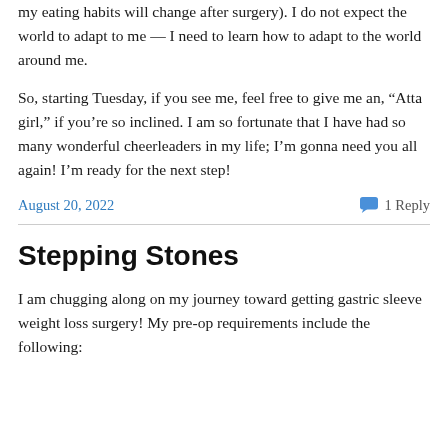my eating habits will change after surgery). I do not expect the world to adapt to me — I need to learn how to adapt to the world around me.
So, starting Tuesday, if you see me, feel free to give me an, “Atta girl,” if you’re so inclined. I am so fortunate that I have had so many wonderful cheerleaders in my life; I’m gonna need you all again! I’m ready for the next step!
August 20, 2022
1 Reply
Stepping Stones
I am chugging along on my journey toward getting gastric sleeve weight loss surgery! My pre-op requirements include the following: